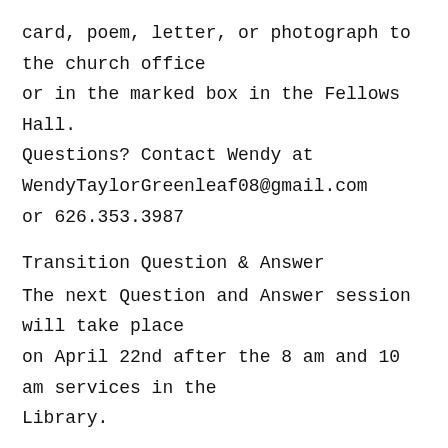card, poem, letter, or photograph to the church office or in the marked box in the Fellows Hall. Questions? Contact Wendy at WendyTaylorGreenleaf08@gmail.com or 626.353.3987
Transition Question & Answer
The next Question and Answer session will take place on April 22nd after the 8 am and 10 am services in the Library.
~
Sunday, May 6
Team 1 Acolyting
Children's Liturgy
10 am | Chapel